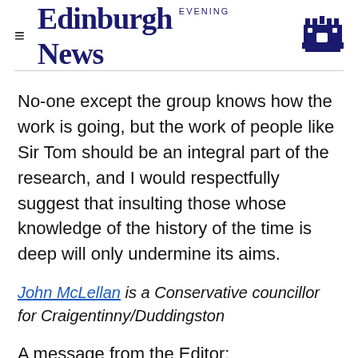Edinburgh Evening News
No-one except the group knows how the work is going, but the work of people like Sir Tom should be an integral part of the research, and I would respectfully suggest that insulting those whose knowledge of the history of the time is deep will only undermine its aims.
John McLellan is a Conservative councillor for Craigentinny/Duddingston
A message from the Editor: